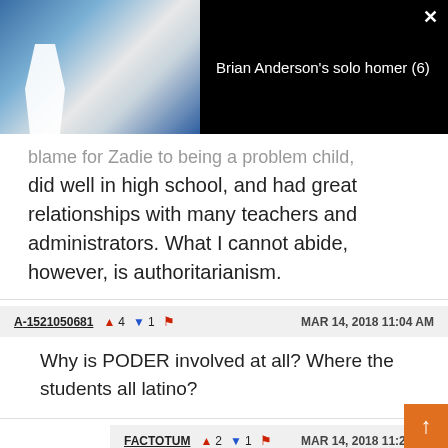[Figure (screenshot): Video overlay showing baseball player; text reads 'Brian Anderson's solo homer (6)']
...blame for Zadie to being a problem child, did well in high school, and had great relationships with many teachers and administrators. What I cannot abide, however, is authoritarianism.
A-1521050681  ▲4  ▼1  🚩  MAR 14, 2018 11:04 AM
Why is PODER involved at all? Where the students all latino?
FACTOTUM  ▲2  ▼1  🚩  MAR 14, 2018 11:22 AM